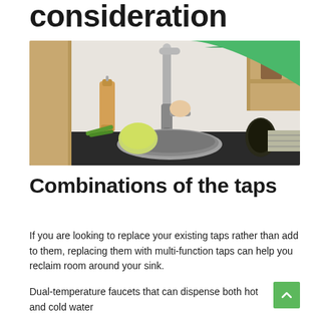consideration
[Figure (photo): Person in green sweater adjusting a modern stainless steel kitchen faucet over a round sink, with vegetables (kohlrabi, green beans), a wooden pepper mill, and an avocado on a dark countertop. Light wood cabinet in background.]
Combinations of the taps
If you are looking to replace your existing taps rather than add to them, replacing them with multi-function taps can help you reclaim room around your sink.
Dual-temperature faucets that can dispense both hot and cold water